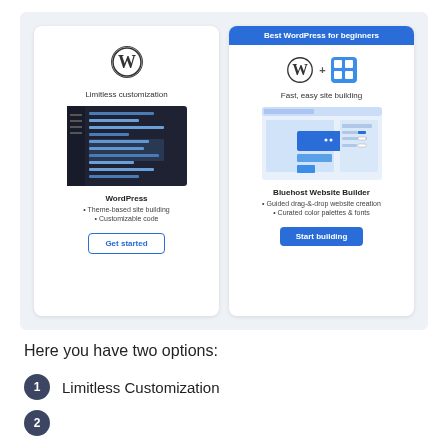[Figure (screenshot): Comparison panel showing two WordPress hosting cards side by side on a light grey background. Left card: WordPress logo, 'Limitless customization' tagline, a dark themed code editor screenshot, product name 'WordPress', features 'Theme-based site building' and 'Customizable code', 'Get started' outline button. Right card: Blue 'Best WordPress for beginners' banner, WordPress + blue grid icon logos, 'Fast, easy site building' tagline, a drag-and-drop builder screenshot, product name 'Bluehost Website Builder', features 'Guided drag-&-drop website creation' and 'Curated color palettes & fonts', 'Start building' filled blue button.]
Here you have two options:
1 Limitless Customization
2